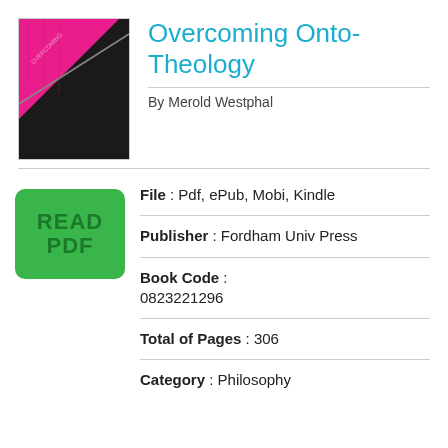[Figure (illustration): Book cover thumbnail for 'Overcoming Onto-Theology' with pink and black design]
Overcoming Onto-Theology
By Merold Westphal
[Figure (other): Green button with text READ PDF]
File : Pdf, ePub, Mobi, Kindle
Publisher : Fordham Univ Press
Book Code : 0823221296
Total of Pages : 306
Category : Philosophy